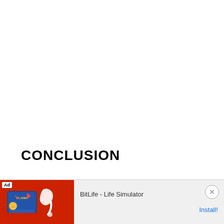CONCLUSION
[Figure (other): Advertisement banner at bottom of page. Red background with game imagery on the left. Text reads 'BitLife - Life Simulator' with an 'Install!' button link on the right. Ad label shown in top-left corner.]